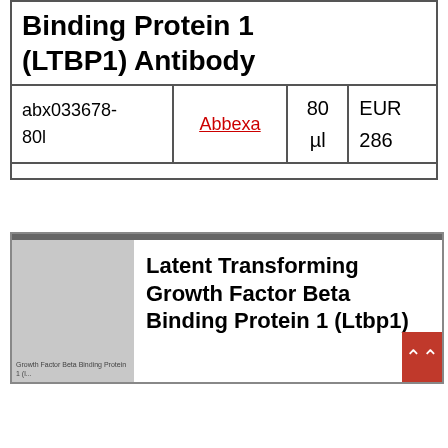| Product | Supplier | Qty | Price |
| --- | --- | --- | --- |
| Binding Protein 1 (LTBP1) Antibody |  |  |  |
| abx033678-80l | Abbexa | 80 µl | EUR 286 |
[Figure (photo): Thumbnail image placeholder with label 'Growth Factor Beta Binding Protein 1 (L...)']
Latent Transforming Growth Factor Beta Binding Protein 1 (Ltbp1)